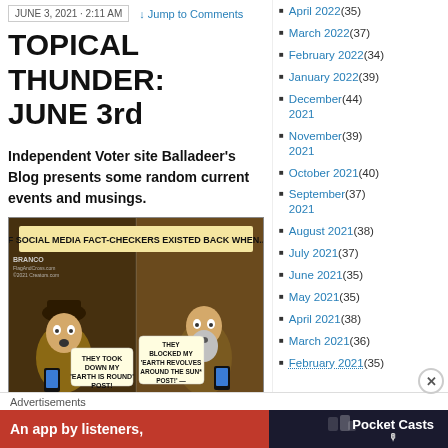JUNE 3, 2021 · 2:11 AM | Jump to Comments
TOPICAL THUNDER: JUNE 3rd
Independent Voter site Balladeer's Blog presents some random current events and musings.
[Figure (illustration): Political cartoon by Branco (FlagAndCross.com / LegalInsurrection.com) showing Columbus and Galileo shocked at their phones. Caption reads: 'IF SOCIAL MEDIA FACT-CHECKERS EXISTED BACK WHEN...' Columbus says 'THEY TOOK DOWN MY EARTH IS ROUND POST!' and Galileo says 'THEY BLOCKED MY EARTH REVOLVES AROUND THE SUN* POST!']
April 2022 (35)
March 2022 (37)
February 2022 (34)
January 2022 (39)
December 2021 (44)
November 2021 (39)
October 2021 (40)
September 2021 (37)
August 2021 (38)
July 2021 (37)
June 2021 (35)
May 2021 (35)
April 2021 (38)
March 2021 (36)
February 2021 (35)
Advertisements
An app by listeners,   Pocket Casts